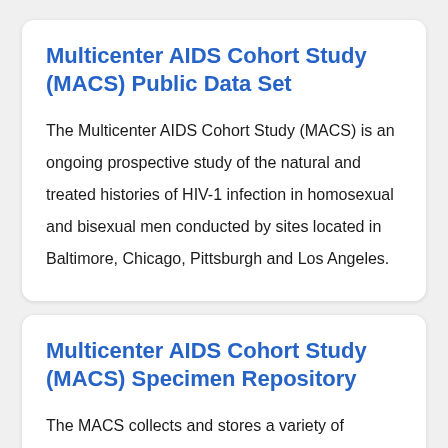Multicenter AIDS Cohort Study (MACS) Public Data Set
The Multicenter AIDS Cohort Study (MACS) is an ongoing prospective study of the natural and treated histories of HIV-1 infection in homosexual and bisexual men conducted by sites located in Baltimore, Chicago, Pittsburgh and Los Angeles.
Multicenter AIDS Cohort Study (MACS) Specimen Repository
The MACS collects and stores a variety of